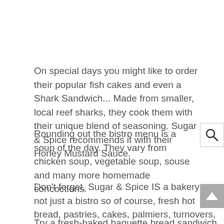On special days you might like to order their popular fish cakes and even a Shark Sandwich... Made from smaller, local reef sharks, they cook them with their unique blend of seasoning. Sugar & Spice recommends it with their Honey Mustard Sauce.
Rounding out the bistro menu is a soup of the day. They vary from chicken soup, vegetable soup, souse and many more homemade concoctions.
Don't forget, Sugar & Spice IS a bakery too, not just a bistro so of course, fresh hot bread, pastries, cakes, palmiers, turnovers, danishes, cookies and other sweets are made fresh and served daily.
Try a fresh-baked baguette bread sandwich for lunch with your favorite fillings... you can watch them make your sandwich and pick what you like.